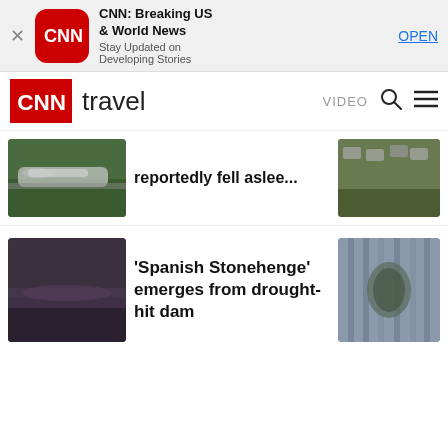[Figure (screenshot): App store ad banner: CNN Breaking US & World News app with close button, CNN logo, title, subtitle, and OPEN button]
CNN travel | VIDEO | search | menu
[Figure (photo): Left thumbnail: airplane on tarmac; Right thumbnail: parking lot aerial view. Headline: reportedly fell aslee...]
reportedly fell aslee...
[Figure (photo): Left thumbnail: misty field at dusk with puffball-like plants; Right thumbnail: overgrown stone monument interior. Headline: 'Spanish Stonehenge' emerges from drought-hit dam]
'Spanish Stonehenge' emerges from drought-hit dam